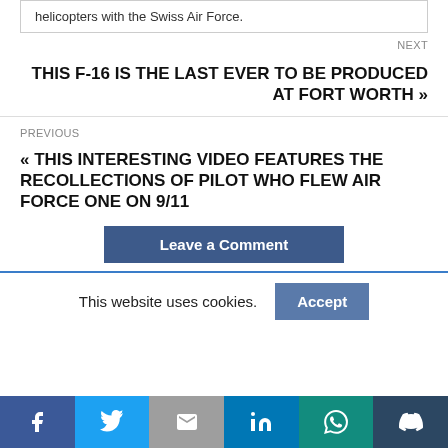helicopters with the Swiss Air Force.
NEXT
THIS F-16 IS THE LAST EVER TO BE PRODUCED AT FORT WORTH »
PREVIOUS
« THIS INTERESTING VIDEO FEATURES THE RECOLLECTIONS OF PILOT WHO FLEW AIR FORCE ONE ON 9/11
Leave a Comment
This website uses cookies.
Accept